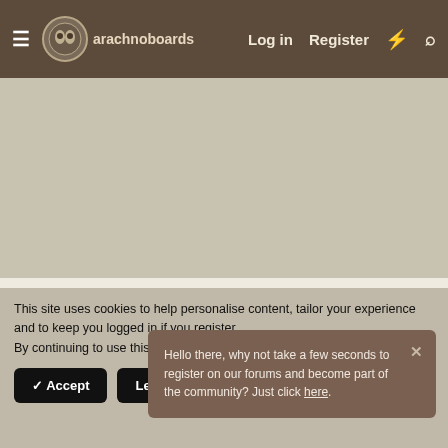Arachnoboards — Log in  Register
[Figure (other): Advertisement placeholder area, tan/khaki colored rectangle]
Thanks... I will do that..
Females have a... least i know it is...
It doesn't have tibial spurs or anything.
Hello there, why not take a few seconds to register on our forums and become part of the community? Just click here.
This site uses cookies to help personalise content, tailor your experience and to keep you logged in if you register.
By continuing to use this site, you are consenting to our use of cookies.